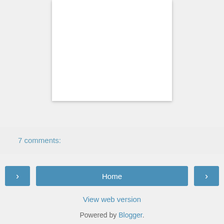[Figure (other): White paper/card element with drop shadow on grey background]
7 comments:
Home
View web version
Powered by Blogger.